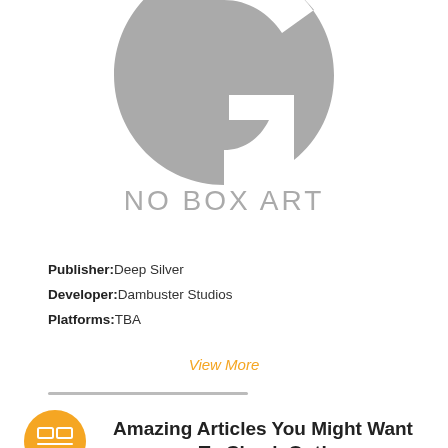[Figure (logo): Large grey stylized G letter logo, partially cropped at top]
NO BOX ART
Publisher: Deep Silver
Developer: Dambuster Studios
Platforms: TBA
View More
Amazing Articles You Might Want To Check Out!